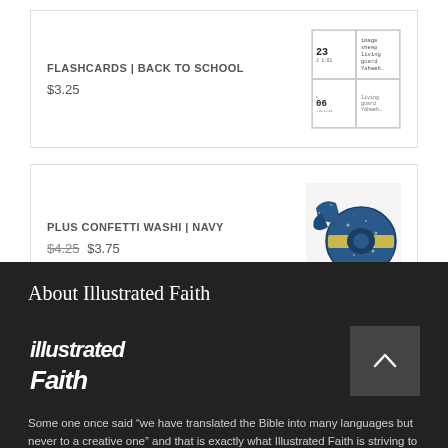FLASHCARDS | BACK TO SCHOOL
$3.25
[Figure (photo): Product image of flashcards with small numbered cards and word labels like image, sheep, living, guard, Yahweh]
PLUS CONFETTI WASHI | NAVY
$4.25 $3.75
[Figure (photo): Product image of navy blue plus confetti washi tape rolls with star/confetti pattern]
About Illustrated Faith
[Figure (logo): Illustrated Faith logo in white handwritten script style text]
Some one once said “we have translated the Bible into many languages but never to a creative one” and that is exactly what Illustrated Faith is striving to